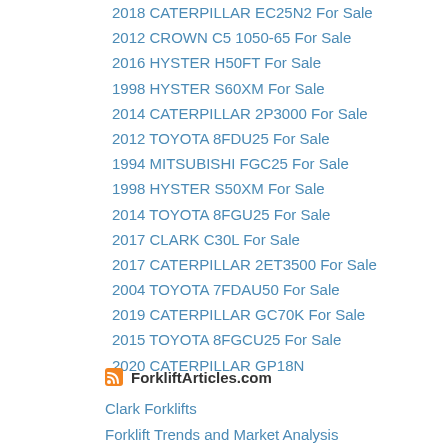2018 CATERPILLAR EC25N2 For Sale
2012 CROWN C5 1050-65 For Sale
2016 HYSTER H50FT For Sale
1998 HYSTER S60XM For Sale
2014 CATERPILLAR 2P3000 For Sale
2012 TOYOTA 8FDU25 For Sale
1994 MITSUBISHI FGC25 For Sale
1998 HYSTER S50XM For Sale
2014 TOYOTA 8FGU25 For Sale
2017 CLARK C30L For Sale
2017 CATERPILLAR 2ET3500 For Sale
2004 TOYOTA 7FDAU50 For Sale
2019 CATERPILLAR GC70K For Sale
2015 TOYOTA 8FGCU25 For Sale
2020 CATERPILLAR GP18N
ForkliftArticles.com
Clark Forklifts
Forklift Trends and Market Analysis